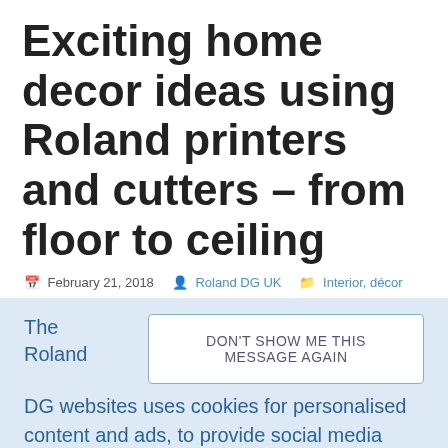Exciting home decor ideas using Roland printers and cutters – from floor to ceiling
February 21, 2018   Roland DG UK   Interior, décor
DON'T SHOW ME THIS MESSAGE AGAIN
The Roland DG websites uses cookies for personalised content and ads, to provide social media features and to analyse traffic on our website. If you continue using this website, you accept our Cookie Policy. You can change your cookie settings at any time.